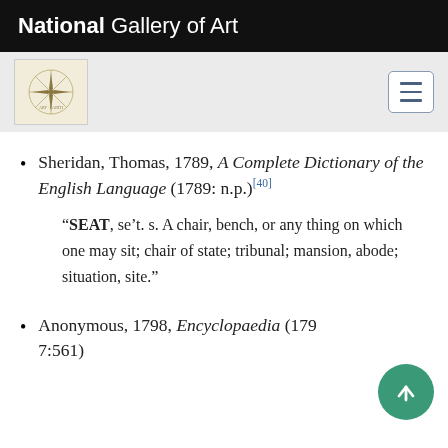National Gallery of Art
Sheridan, Thomas, 1789, A Complete Dictionary of the English Language (1789: n.p.)[40]
“SEAT, se’t. s. A chair, bench, or any thing on which one may sit; chair of state; tribunal; mansion, abode; situation, site.”
Anonymous, 1798, Encyclopaedia (1798: 7:561)